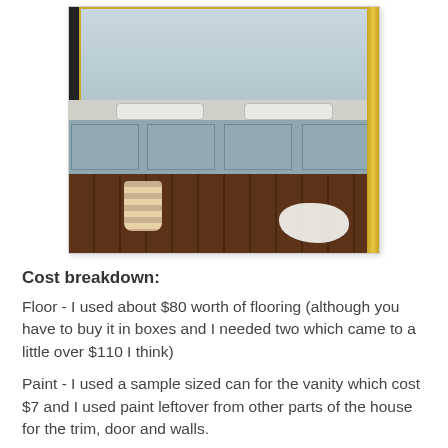[Figure (photo): Bathroom vanity with painted blue-gray cabinets, gold hardware, double sinks, dark wood floor, white fluffy rug, and woven basket. Gold-framed mirror above vanity with pink flowers.]
Cost breakdown:
Floor - I used about $80 worth of flooring (although you have to buy it in boxes and I needed two which came to a little over $110 I think)
Paint - I used a sample sized can for the vanity which cost $7 and I used paint leftover from other parts of the house for the trim, door and walls.